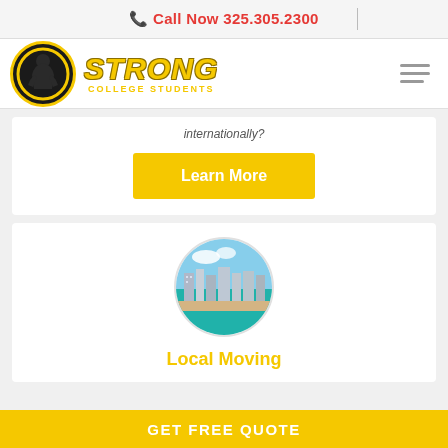📞 Call Now 325.305.2300
[Figure (logo): Strong College Students logo — black circle with muscular figure silhouette, yellow border, bold yellow italic STRONG text with COLLEGE STUDENTS subtitle]
internationally?
Learn More
[Figure (photo): Aerial view of a coastal city beach with buildings and turquoise water, shown in a circular crop]
Local Moving
GET FREE QUOTE